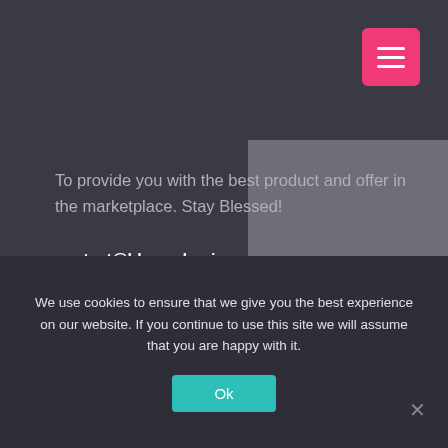[Figure (screenshot): Pink/magenta hamburger menu button with three white horizontal lines in top right corner]
To provide you with the best product and offer in the marketplace. Stay Blessed!
contact@blessedreviews.com
[Figure (infographic): Row of five social media icons (Facebook, Twitter, Instagram, YouTube, Google) as white circles on dark background]
We use cookies to ensure that we give you the best experience on our website. If you continue to use this site we will assume that you are happy with it.